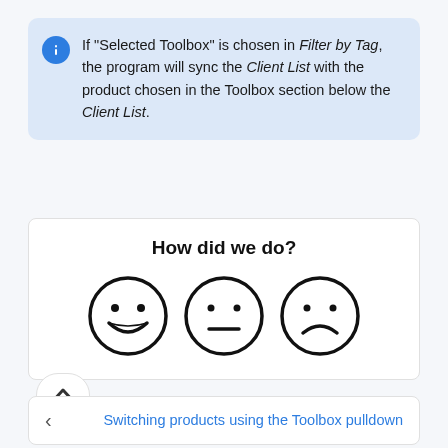If "Selected Toolbox" is chosen in Filter by Tag, the program will sync the Client List with the product chosen in the Toolbox section below the Client List.
[Figure (infographic): Feedback widget with title 'How did we do?' and three emoji faces: happy, neutral, sad]
[Figure (other): Scroll up button with chevron/caret up symbol]
Switching products using the Toolbox pulldown